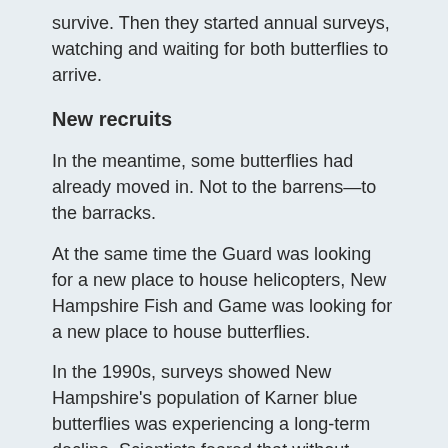survive. Then they started annual surveys, watching and waiting for both butterflies to arrive.
New recruits
In the meantime, some butterflies had already moved in. Not to the barrens—to the barracks.
At the same time the Guard was looking for a new place to house helicopters, New Hampshire Fish and Game was looking for a new place to house butterflies.
In the 1990s, surveys showed New Hampshire's population of Karner blue butterflies was experiencing a long-term decline. Scientists feared that without direct intervention the species could disappear from the Concord area, so the state worked with the U.S. Fish and Wildlife Service to explore the possibility of starting captive-rearing program.